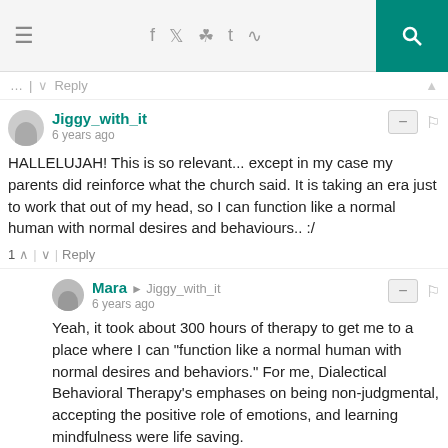Navigation bar with menu, social icons, and search
Reply
Jiggy_with_it
6 years ago
HALLELUJAH! This is so relevant... except in my case my parents did reinforce what the church said. It is taking an era just to work that out of my head, so I can function like a normal human with normal desires and behaviours.. :/
1 Reply
Mara → Jiggy_with_it
6 years ago
Yeah, it took about 300 hours of therapy to get me to a place where I can "function like a normal human with normal desires and behaviors." For me, Dialectical Behavioral Therapy's emphases on being non-judgmental, accepting the positive role of emotions, and learning mindfulness were life saving.
Reply
Kk